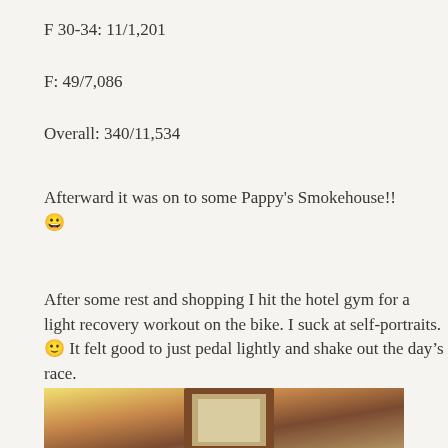F 30-34: 11/1,201
F: 49/7,086
Overall: 340/11,534
Afterward it was on to some Pappy's Smokehouse!! 😀
After some rest and shopping I hit the hotel gym for a light recovery workout on the bike. I suck at self-portraits. 🙂 It felt good to just pedal lightly and shake out the day's race.
[Figure (photo): Partial photo showing a hotel room with warm lighting and a framed picture on the wall, cropped at the bottom of the page.]